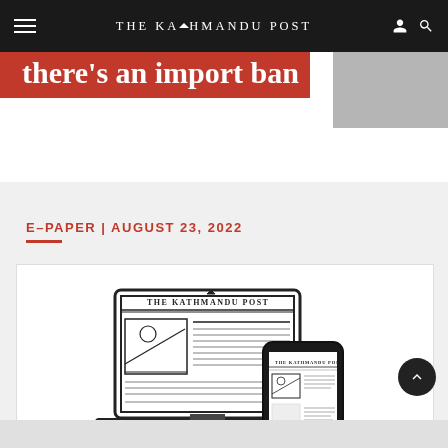THE KATHMANDU POST
there's an import ban
E–PAPER | AUGUST 23, 2022
[Figure (illustration): Illustration of The Kathmandu Post newspaper displayed on a laptop and smartphone, representing ePaper Online reading]
Read ePaper Online